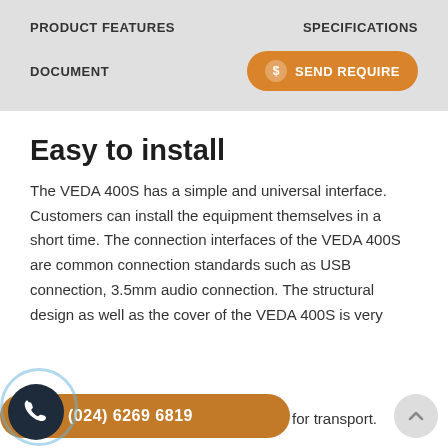PRODUCT FEATURES   SPECIFICATIONS
DOCUMENT   $ SEND REQUIRE
Easy to install
The VEDA 400S has a simple and universal interface. Customers can install the equipment themselves in a short time. The connection interfaces of the VEDA 400S are common connection standards such as USB connection, 3.5mm audio connection. The structural design as well as the cover of the VEDA 400S is very   for transport.
(024) 6269 6819